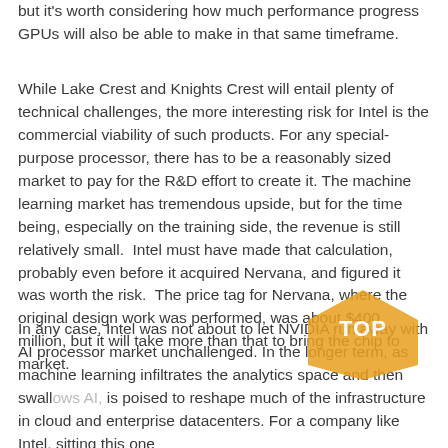but it's worth considering how much performance progress GPUs will also be able to make in that same timeframe.
While Lake Crest and Knights Crest will entail plenty of technical challenges, the more interesting risk for Intel is the commercial viability of such products. For any special-purpose processor, there has to be a reasonably sized market to pay for the R&D effort to create it. The machine learning market has tremendous upside, but for the time being, especially on the training side, the revenue is still relatively small.  Intel must have made that calculation, probably even before it acquired Nervana, and figured it was worth the risk.  The price tag for Nervana, where the original design work was performed, was about $400 million, but it will take more than that to bring the chip to market.
In any case, Intel was not about to let NVIDIA run away with AI processor market unchallenged. In the longer term, as machine learning infiltrates the analytics space and then swallows AI, is poised to reshape much of the infrastructure in cloud and enterprise datacenters. For a company like Intel, sitting this one